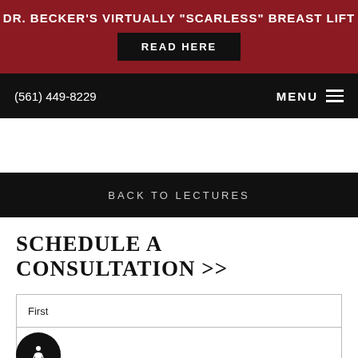DR. BECKER'S VIRTUALLY "SCARLESS" BREAST LIFT
READ HERE
(561) 449-8229   MENU
BACK TO LECTURES
SCHEDULE A CONSULTATION >>
First
[Figure (other): Accessibility button with wheelchair icon]